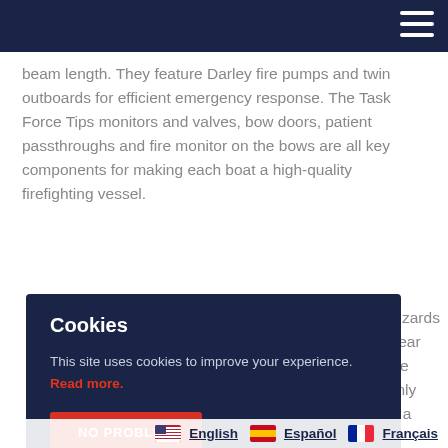[Navigation bar with hamburger menu]
beam length. They feature Darley fire pumps and twin outboards for efficient emergency response. The Task Force Tips monitors and valves, bow doors, patient passthroughs and fire monitor on the bows are all key components for making each boat a high-quality firefighting vessel.
[partially visible text] ...zards ...ne Clear ...rescue ...the only ...ch a ...ps ...minute and a 22 ½ -inch draft allowing crew to get
Cookies
This site uses cookies to improve your experience. Read more.
NO PROBLEM
English  Español  Français